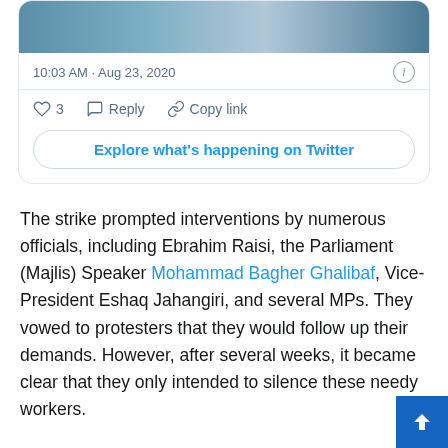[Figure (screenshot): Screenshot of a Twitter/social media card showing a tweet with a photo, timestamp '10:03 AM · Aug 23, 2020', like (3), reply, and copy link actions, and an 'Explore what's happening on Twitter' button.]
The strike prompted interventions by numerous officials, including Ebrahim Raisi, the Parliament (Majlis) Speaker Mohammad Bagher Ghalibaf, Vice-President Eshaq Jahangiri, and several MPs. They vowed to protesters that they would follow up their demands. However, after several weeks, it became clear that they only intended to silence these needy workers.
Previously, to ease the government's economic pressure, the Supreme Leader Ali Khamenei launched and promoted privatization. In this respect, the regime allocated several